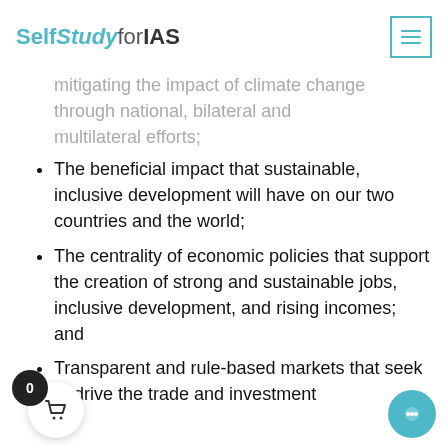SelfStudyforIAS
…mitigating the impact of climate change through national, bilateral and multilateral efforts;
The beneficial impact that sustainable, inclusive development will have on our two countries and the world;
The centrality of economic policies that support the creation of strong and sustainable jobs, inclusive development, and rising incomes; and
Transparent and rule-based markets that seek to drive the trade and investment…